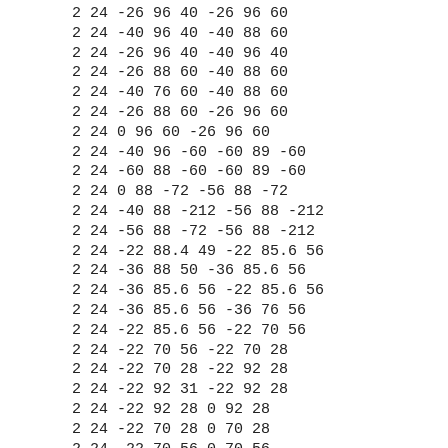2 24 -26 96 40 -26 96 60
2 24 -40 96 40 -40 88 60
2 24 -26 96 40 -40 96 40
2 24 -26 88 60 -40 88 60
2 24 -40 76 60 -40 88 60
2 24 -26 88 60 -26 96 60
2 24 0 96 60 -26 96 60
2 24 -40 96 -60 -60 89 -60
2 24 -60 88 -60 -60 89 -60
2 24 0 88 -72 -56 88 -72
2 24 -40 88 -212 -56 88 -212
2 24 -56 88 -72 -56 88 -212
2 24 -22 88.4 49 -22 85.6 56
2 24 -36 88 50 -36 85.6 56
2 24 -36 85.6 56 -22 85.6 56
2 24 -36 85.6 56 -36 76 56
2 24 -22 85.6 56 -22 70 56
2 24 -22 70 56 -22 70 28
2 24 -22 70 28 -22 92 28
2 24 -22 92 31 -22 92 28
2 24 -22 92 28 0 92 28
2 24 -22 70 28 0 70 28
2 24 -22 70 56 0 70 56